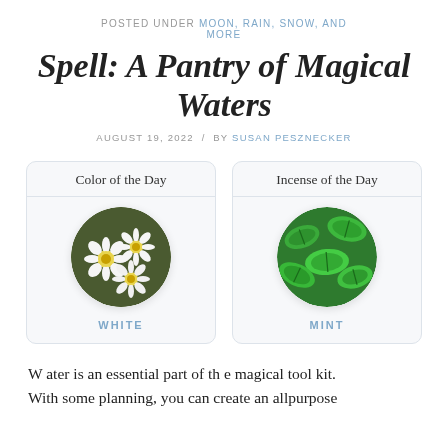POSTED UNDER MOON, RAIN, SNOW, AND MORE
Spell: A Pantry of Magical Waters
AUGUST 19, 2022  /  BY SUSAN PESZNECKER
[Figure (illustration): Two side-by-side cards. Left card: 'Color of the Day' with a circular photo of white daisy flowers and label WHITE. Right card: 'Incense of the Day' with a circular photo of green mint leaves and label MINT.]
Water is an essential part of th e magical tool kit. With some planning, you can create an allpurpose